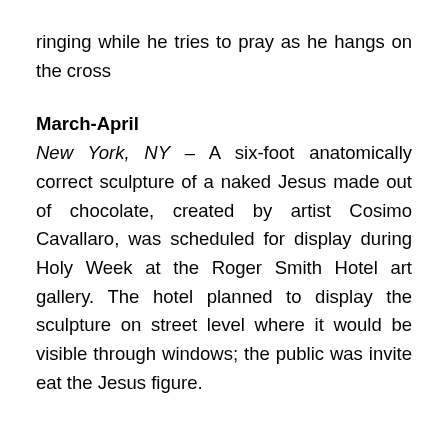ringing while he tries to pray as he hangs on the cross
March-April
New York, NY – A six-foot anatomically correct sculpture of a naked Jesus made out of chocolate, created by artist Cosimo Cavallaro, was scheduled for display during Holy Week at the Roger Smith Hotel art gallery. The hotel planned to display the sculpture on street level where it would be visible through windows; the public was invite eat the Jesus figure.